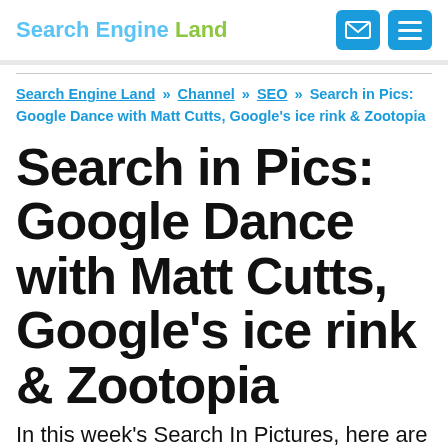Search Engine Land
Search Engine Land » Channel » SEO » Search in Pics: Google Dance with Matt Cutts, Google's ice rink & Zootopia
Search in Pics: Google Dance with Matt Cutts, Google's ice rink & Zootopia
In this week's Search In Pictures, here are